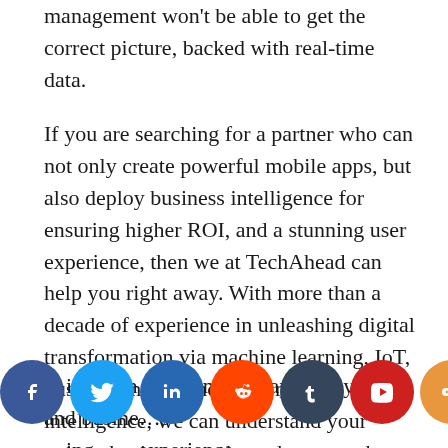management won't be able to get the correct picture, backed with real-time data.
If you are searching for a partner who can not only create powerful mobile apps, but also deploy business intelligence for ensuring higher ROI, and a stunning user experience, then we at TechAhead can help you right away. With more than a decade of experience in unleashing digital transformation via machine learning, IoT, business intelligence, and mobile intelligence, we can understand your unique business needs, and suggest the best way forward.
...in touch with a mobile app analytics and business ...ing ...experience...
[Figure (other): Social media sharing icons row: Facebook (blue), Twitter (light blue), LinkedIn (dark blue), Reddit (orange-red), Tumblr (dark blue-grey), YouTube (red), Share (orange)]